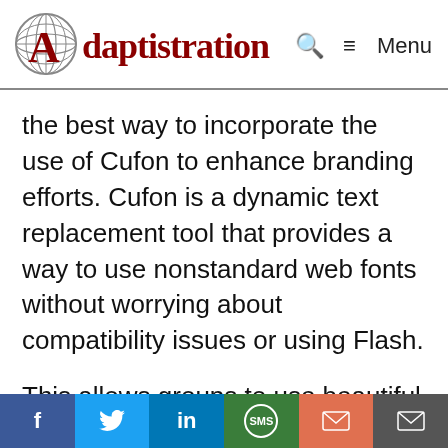Adaptistration   🔍  ≡ Menu
the best way to incorporate the use of Cufon to enhance branding efforts. Cufon is a dynamic text replacement tool that provides a way to use nonstandard web fonts without worrying about compatibility issues or using Flash.
This allows groups to use beautiful typography for elements that work best when standing out; like headlines or pull
f  t  in  SMS  ✉  ✉